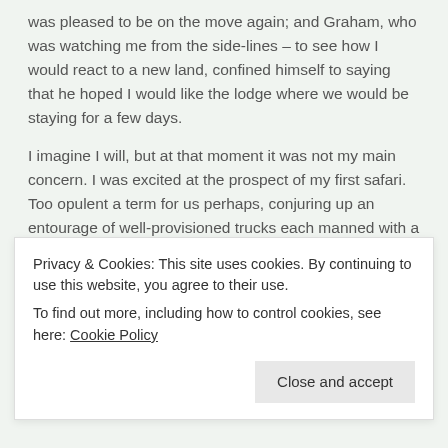was pleased to be on the move again; and Graham, who was watching me from the side-lines – to see how I would react to a new land, confined himself to saying that he hoped I would like the lodge where we would be staying for a few days.
I imagine I will, but at that moment it was not my main concern. I was excited at the prospect of my first safari. Too opulent a term for us perhaps, conjuring up an entourage of well-provisioned trucks each manned with a local African guide and tracker, bullish Europeans in khaki shorts, legs the colour of seasoned olive wood above long woollen socks, bush-hatted and safari-jacketed, a powerful rifle to hand to fend off attacks by a raging buffalo. But no, there was none of
Privacy & Cookies: This site uses cookies. By continuing to use this website, you agree to their use.
To find out more, including how to control cookies, see here: Cookie Policy
Close and accept